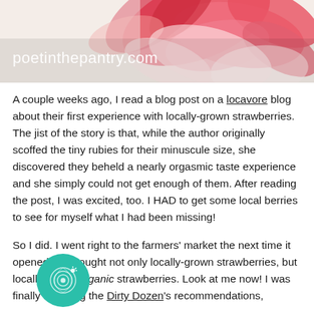[Figure (photo): Decorative header image with red and pink floral petals on a light background, with the watermark text 'poetinthepantry.com' overlaid in white.]
A couple weeks ago, I read a blog post on a locavore blog about their first experience with locally-grown strawberries. The jist of the story is that, while the author originally scoffed the tiny rubies for their minuscule size, she discovered they beheld a nearly orgasmic taste experience and she simply could not get enough of them. After reading the post, I was excited, too. I HAD to get some local berries to see for myself what I had been missing!
So I did. I went right to the farmers' market the next time it opened and bought not only locally-grown strawberries, but locally grown organic strawberries. Look at me now! I was finally following the Dirty Dozen's recommendations,
[Figure (logo): Teal/green circular logo with a fingerprint and star design inside.]